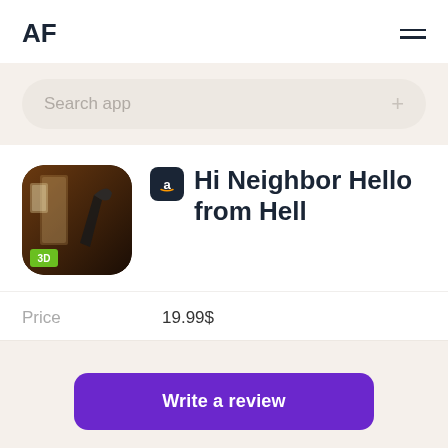AF
Search app
Hi Neighbor Hello from Hell
Price   19.99$
Write a review